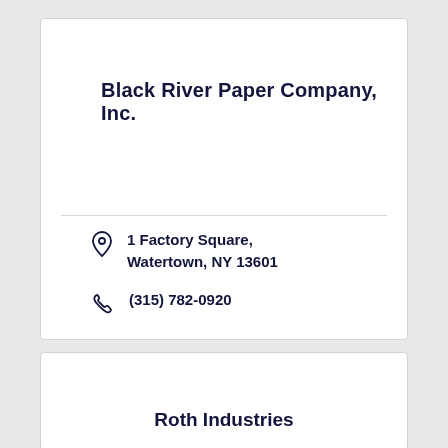Black River Paper Company, Inc.
1 Factory Square, Watertown, NY 13601
(315) 782-0920
Roth Industries